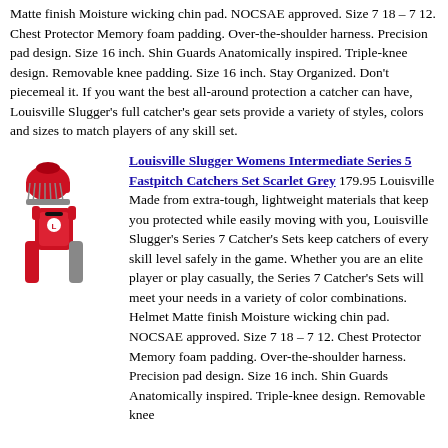Matte finish Moisture wicking chin pad. NOCSAE approved. Size 7 18 – 7 12. Chest Protector Memory foam padding. Over-the-shoulder harness. Precision pad design. Size 16 inch. Shin Guards Anatomically inspired. Triple-knee design. Removable knee padding. Size 16 inch. Stay Organized. Don't piecemeal it. If you want the best all-around protection a catcher can have, Louisville Slugger's full catcher's gear sets provide a variety of styles, colors and sizes to match players of any skill set.
[Figure (photo): Red and grey Louisville Slugger catcher's gear set including helmet, chest protector, and shin guards]
Louisville Slugger Womens Intermediate Series 5 Fastpitch Catchers Set Scarlet Grey 179.95 Louisville Made from extra-tough, lightweight materials that keep you protected while easily moving with you, Louisville Slugger's Series 7 Catcher's Sets keep catchers of every skill level safely in the game. Whether you are an elite player or play casually, the Series 7 Catcher's Sets will meet your needs in a variety of color combinations. Helmet Matte finish Moisture wicking chin pad. NOCSAE approved. Size 7 18 – 7 12. Chest Protector Memory foam padding. Over-the-shoulder harness. Precision pad design. Size 16 inch. Shin Guards Anatomically inspired. Triple-knee design. Removable knee